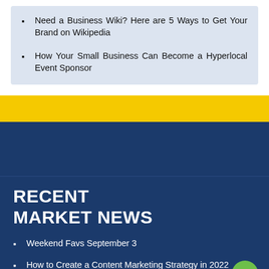Need a Business Wiki? Here are 5 Ways to Get Your Brand on Wikipedia
How Your Small Business Can Become a Hyperlocal Event Sponsor
RECENT MARKET NEWS
Weekend Favs September 3
How to Create a Content Marketing Strategy in 2022
5 Ways to Increase Brand